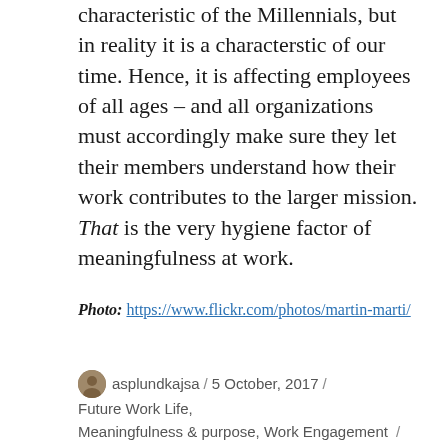characteristic of the Millennials, but in reality it is a characterstic of our time. Hence, it is affecting employees of all ages – and all organizations must accordingly make sure they let their members understand how their work contributes to the larger mission. That is the very hygiene factor of meaningfulness at work.
Photo: https://www.flickr.com/photos/martin-marti/
asplundkajsa / 5 October, 2017 / Future Work Life, Meaningfulness & purpose, Work Engagement / Leave a comment